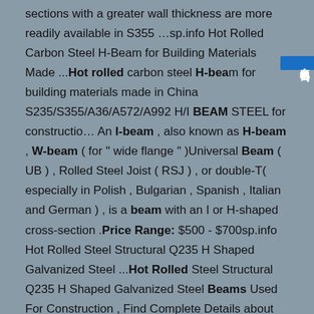sections with a greater wall thickness are more readily available in S355 …sp.info Hot Rolled Carbon Steel H-Beam for Building Materials Made ...Hot rolled carbon steel H-beam for building materials made in China S235/S355/A36/A572/A992 H/I BEAM STEEL for construction An I-beam , also known as H-beam , W-beam ( for " wide flange " )Universal Beam ( UB ) , Rolled Steel Joist ( RSJ ) , or double-T( especially in Polish , Bulgarian , Spanish , Italian and German ) , is a beam with an I or H-shaped cross-section .Price Range: $500 - $700sp.info Hot Rolled Steel Structural Q235 H Shaped Galvanized Steel ...Hot Rolled Steel Structural Q235 H Shaped Galvanized Steel Beams Used For Construction , Find Complete Details about Hot Rolled Steel Structural Q235 H Shaped Galvanized Steel Beams Used For Construction,H-beams,Structural Steel H Beams,Steel H-beam Size from Steel H Beams Supplier or Manufac…